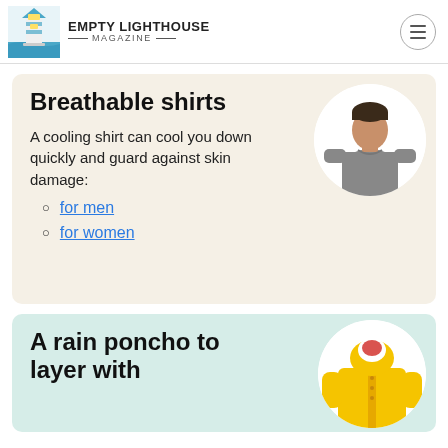EMPTY LIGHTHOUSE MAGAZINE
Breathable shirts
A cooling shirt can cool you down quickly and guard against skin damage:
for men
for women
[Figure (photo): Man wearing a gray breathable t-shirt, shown in a circular crop]
A rain poncho to layer with
[Figure (photo): Yellow rain poncho/jacket shown in a circular crop]